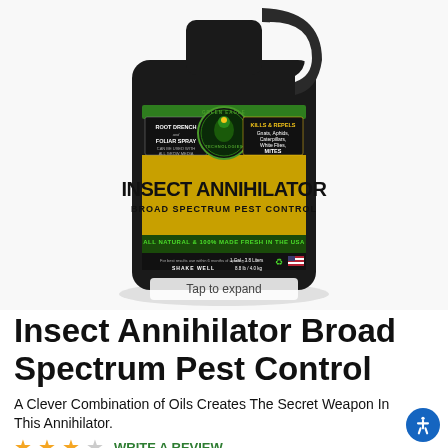[Figure (photo): Black plastic gallon jug of Green Eagle Technologies Insect Annihilator Broad Spectrum Pest Control. Label shows ROOT DRENCH and FOLIAR SPRAY, CAN BE USED WITH ALL GROW MEDIA, Green Eagle Technologies logo, KILLS & REPELS Gnats, Aphids, Caterpillars, White Flies, MITES, INSECT ANNIHILATOR in large bold text, BROAD SPECTRUM PEST CONTROL, ALL NATURAL & 100% MADE FRESH IN THE USA, 1 Gal - 3.8 Liters, 8.8 lb / 4.0 kg, SHAKE WELL, recycle symbol and US flag. Overlay text says Tap to expand.]
Insect Annihilator Broad Spectrum Pest Control
A Clever Combination of Oils Creates The Secret Weapon In This Annihilator.
★★★☆ WRITE A REVIEW